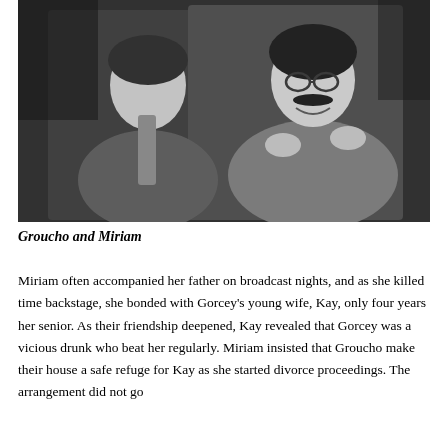[Figure (photo): Black and white photograph of Groucho Marx and Miriam Marx. Two people posing together, one wearing a suit with a tie, the other with glasses and a mustache, smiling.]
Groucho and Miriam
Miriam often accompanied her father on broadcast nights, and as she killed time backstage, she bonded with Gorcey's young wife, Kay, only four years her senior. As their friendship deepened, Kay revealed that Gorcey was a vicious drunk who beat her regularly. Miriam insisted that Groucho make their house a safe refuge for Kay as she started divorce proceedings. The arrangement did not go